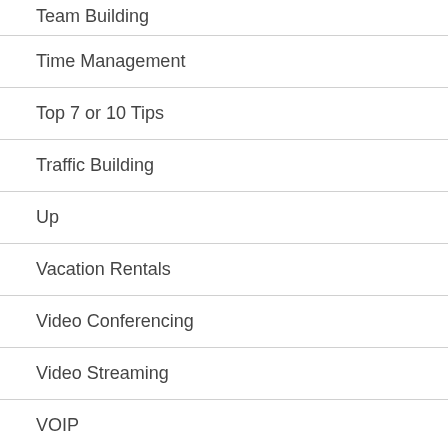Team Building
Time Management
Top 7 or 10 Tips
Traffic Building
Up
Vacation Rentals
Video Conferencing
Video Streaming
VOIP
Wealth Building
Web Design
Web Development
Web Hosting